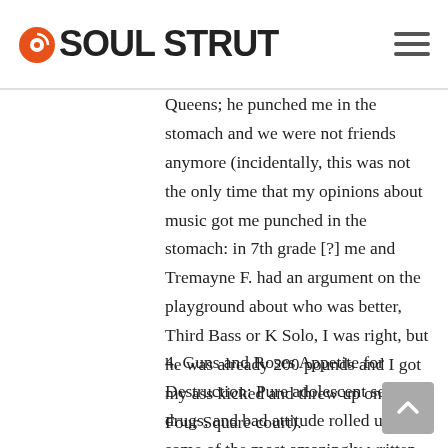SOUL STRUT
Queens; he punched me in the stomach and we were not friends anymore (incidentally, this was not the only time that my opinions about music got me punched in the stomach: in 7th grade [?] me and Tremayne F. had an argument on the playground about who was better, Third Bass or K Solo, I was right, but he was already 200 pounds and I got my ass kicked and threw up on the Four Square court).
4. Guns and Roses Appetite for Destruction: Pure adolescent sex, drugs, and bad attitude rolled up into some of the most amazingly written well played records ever recorded. I know it???s not considered cool to love this record in certain circles, and that???s fine, you can listen to Pavement talk about isosceles triangles, and I will listen to Axl wail about whiskey and